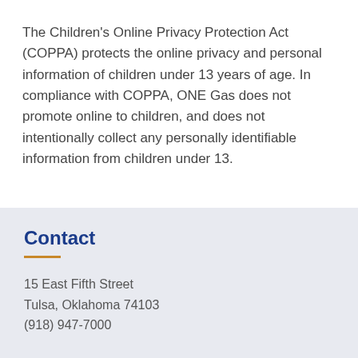The Children's Online Privacy Protection Act (COPPA) protects the online privacy and personal information of children under 13 years of age. In compliance with COPPA, ONE Gas does not promote online to children, and does not intentionally collect any personally identifiable information from children under 13.
Contact
15 East Fifth Street
Tulsa, Oklahoma 74103
(918) 947-7000